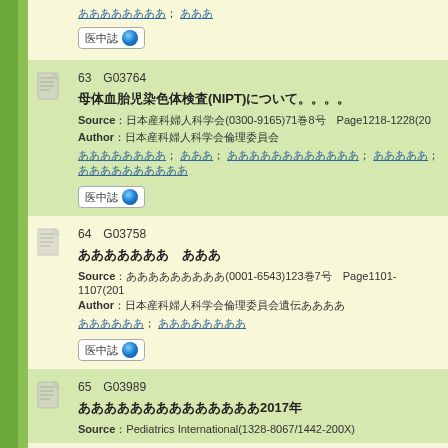[Figure (other): Document icon for top partial entry]
医中誌 [badge button]
63 G03764 - 母体血胎児染色体検査(NIPT)について
Source：日本産科婦人科学会(0300-9165)71巻8号 Page1218-1228(20...)
Author：日本産科婦人科学会倫理委員会
Authors list
医中誌 [badge button]
64 G03758 - 産婦人科 学会
Source：産婦人科学会(0001-6543)123巻7号 Page1101-1107(201...)
Author：日本産科婦人科学会倫理委員会遺伝
Authors list
医中誌 [badge button]
65 G03989 - 日本産婦人科学会2017年
Source：Pediatrics International(1328-8067/1442-200X)